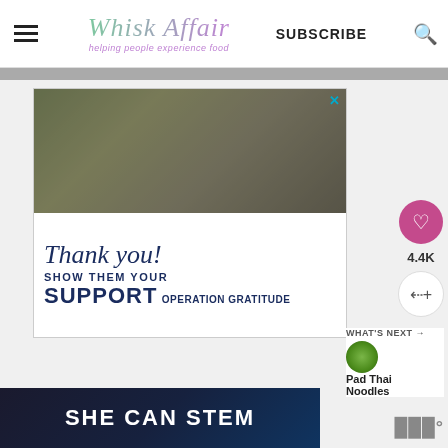Whisk Affair — helping people experience food — SUBSCRIBE
[Figure (screenshot): Advertisement showing military soldiers wearing masks and gloves, with text 'Thank you! SHOW THEM YOUR SUPPORT OPERATION GRATITUDE']
[Figure (infographic): SHE CAN STEM dark banner at bottom of page]
4.4K
WHAT'S NEXT → Pad Thai Noodles